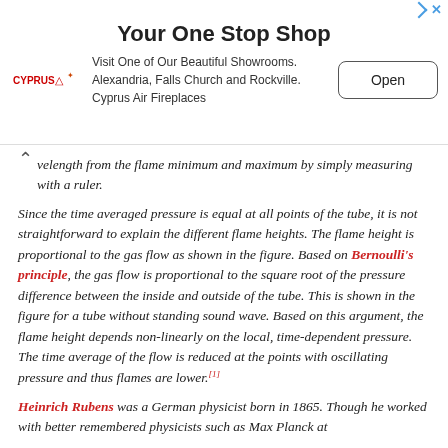[Figure (other): Advertisement banner for Cyprus Air Fireplaces with title 'Your One Stop Shop', logo, description text, and Open button]
...velength from the flame minimum and maximum by simply measuring with a ruler.
Since the time averaged pressure is equal at all points of the tube, it is not straightforward to explain the different flame heights. The flame height is proportional to the gas flow as shown in the figure. Based on Bernoulli's principle, the gas flow is proportional to the square root of the pressure difference between the inside and outside of the tube. This is shown in the figure for a tube without standing sound wave. Based on this argument, the flame height depends non-linearly on the local, time-dependent pressure. The time average of the flow is reduced at the points with oscillating pressure and thus flames are lower.[1]
Heinrich Rubens was a German physicist born in 1865. Though he worked with better remembered physicists such as Max Planck at